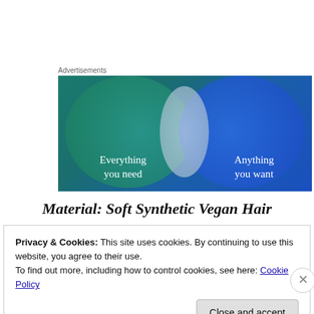Advertisements
[Figure (infographic): Venn diagram advertisement with two overlapping circles on a blue-green background. Left circle (teal/green): 'Everything you need'. Right circle (blue): 'Anything you want'. Overlapping area is light blue-grey.]
Material: Soft Synthetic Vegan Hair
Privacy & Cookies: This site uses cookies. By continuing to use this website, you agree to their use.
To find out more, including how to control cookies, see here: Cookie Policy
Close and accept